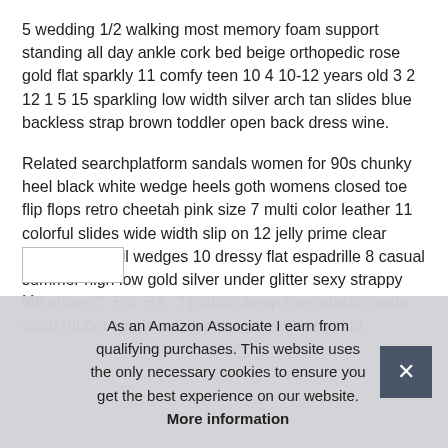5 wedding 1/2 walking most memory foam support standing all day ankle cork bed beige orthopedic rose gold flat sparkly 11 comfy teen 10 4 10-12 years old 3 2 12 1 5 15 sparkling low width silver arch tan slides blue backless strap brown toddler open back dress wine.
Related searchplatform sandals women for 90s chunky heel black white wedge heels goth womens closed toe flip flops retro cheetah pink size 7 multi color leather 11 colorful slides wide width slip on 12 jelly prime clear nude woven all wedges 10 dressy flat espadrille 8 casual summer high low gold silver under glitter sexy strappy tan shoes 7. 5 6. 5 5. 7 gothic cheap men elastic ankle strap rubber single with block pool walk pro sofa...
As an Amazon Associate I earn from qualifying purchases. This website uses the only necessary cookies to ensure you get the best experience on our website. More information